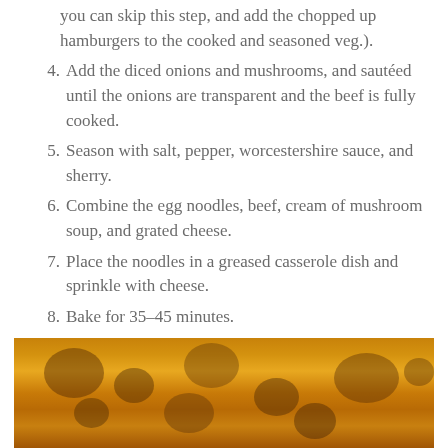(continuation) you can skip this step, and add the chopped up hamburgers to the cooked and seasoned veg.).
4. Add the diced onions and mushrooms, and sautéed until the onions are transparent and the beef is fully cooked.
5. Season with salt, pepper, worcestershire sauce, and sherry.
6. Combine the egg noodles, beef, cream of mushroom soup, and grated cheese.
7. Place the noodles in a greased casserole dish and sprinkle with cheese.
8. Bake for 35–45 minutes.
[Figure (photo): Close-up photo of a baked casserole dish showing golden-orange melted cheese with visible ingredients underneath.]